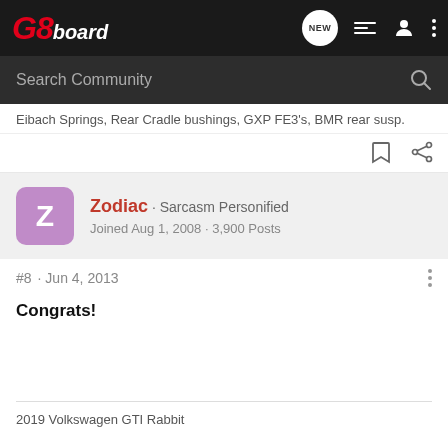G8board
Search Community
Eibach Springs, Rear Cradle bushings, GXP FE3's, BMR rear susp.
Zodiac · Sarcasm Personified
Joined Aug 1, 2008 · 3,900 Posts
#8 · Jun 4, 2013
Congrats!
2019 Volkswagen GTI Rabbit